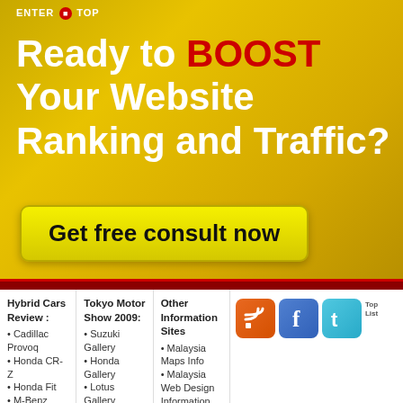ENTER TOP
Ready to BOOST Your Website Ranking and Traffic?
Get free consult now
Hybrid Cars Review : • Cadillac Provoq • Honda CR-Z • Honda Fit • M-Benz s400 • Mitsubishi iMiEV • Porsche
Tokyo Motor Show 2009: • Suzuki Gallery • Honda Gallery • Lotus Gallery • Toyota Galler • Lexus Gallery • Daihatsu Gallery
Other Information Sites • Malaysia Maps Info • Malaysia Web Design Information • Malaysia Ecommerce Subscription • Business Directory Portal • Garmin
[Figure (infographic): Social media icons: RSS feed (orange), Facebook (blue), Twitter (cyan), and a Top List badge]